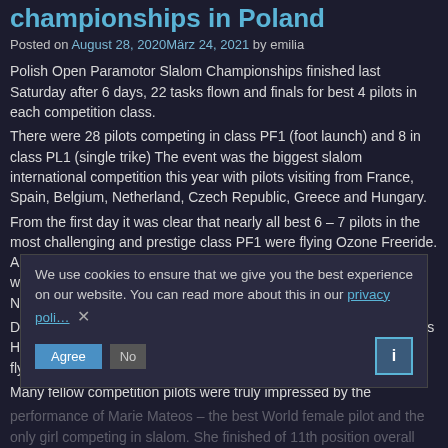championships in Poland
Posted on August 28, 2020März 24, 2021 by emilia
Polish Open Paramotor Slalom Championships finished last Saturday after 6 days, 22 tasks flown and finals for best 4 pilots in each competition class.
There were 28 pilots competing in class PF1 (foot launch) and 8 in class PL1 (single trike) The event was the biggest slalom international competition this year with pilots visiting from France, Spain, Belgium, Netherland, Czech Republic, Greece and Hungary.
From the first day it was clear that nearly all best 6 – 7 pilots in the most challenging and prestige class PF1 were flying Ozone Freeride. Alex Mateos flying Freeride 14 took the lead from the day one and won 20 from 22 tasks. He was closely followed by his team mate Nicolas Aubert who was also flying the same wing.
During most competition 3rd placed belonged to a Czech pilot Lubos Halama for whom this event was the first international competition flying Ozone Freeride.
Many fellow competition pilots were truly impressed by the performance of Marie Mateos – the best World female pilot and the only girl competing in slalom. She finished of 11th position overall leaving many really good and experienced pilots far behind.
Young Italian pilot flying Freeride 15 – Lorenzo Mallegni –
We use cookies to ensure that we give you the best experience on our website. You can read more about this in our privacy policy